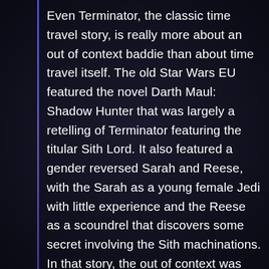Even Terminator, the classic time travel story, is really more about an out of context baddie than about time travel itself. The old Star Wars EU featured the novel Darth Maul: Shadow Hunter that was largely a retelling of Terminator featuring the titular Sith Lord. It also featured a gender reversed Sarah and Reese, with the Sarah as a young female Jedi with little experience and the Reese as a scoundrel that discovers some secret involving the Sith machinations. In that story, the out of context was that it was a Sith Lord that no one could have predicted was back. The Winter Soldier also largely features the same concept with the titular antagonist. Person of Interest also featured the